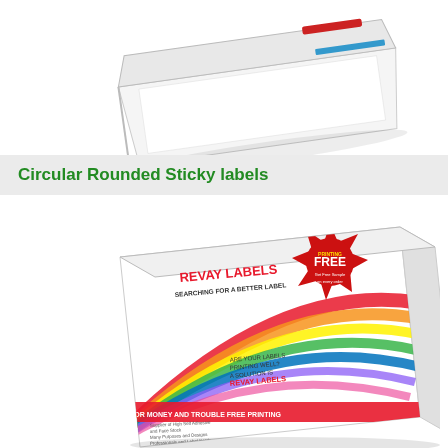[Figure (photo): Product photo of a white label sheet box with red and blue accent, shown at an angle against white background]
Circular Rounded Sticky labels
[Figure (photo): Product photo of Revay Labels colorful box featuring a rainbow bird design and text 'REVAY LABELS - SEARCHING FOR A BETTER LABEL', with a red FREE sticker badge]